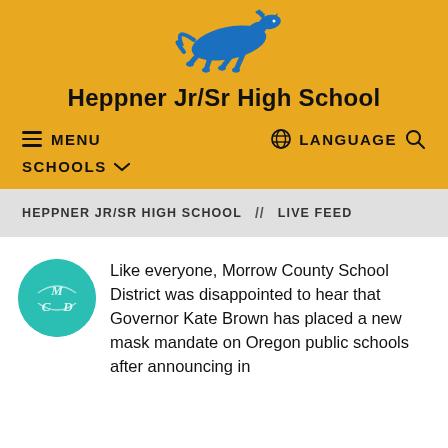[Figure (logo): Blue running horse (mustang) mascot logo for Heppner Jr/Sr High School]
Heppner Jr/Sr High School
MENU  //  LANGUAGE  [search icon]  //  SCHOOLS
HEPPNER JR/SR HIGH SCHOOL  //  LIVE FEED
[Figure (logo): Morrow County School District circular teal logo with MCSD letters]
Like everyone, Morrow County School District was disappointed to hear that Governor Kate Brown has placed a new mask mandate on Oregon public schools after announcing in